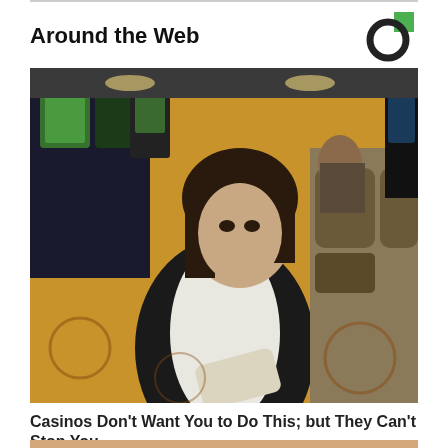Around the Web
[Figure (photo): Casino floor photo: a woman in a black blazer and white outfit sits among slot machines, with other patrons seated at gaming chairs in the background on patterned carpet.]
Casinos Don't Want You to Do This; but They Can't Stop You
BuzzDaily Winners
[Figure (photo): Partial view of a second article thumbnail showing a blond person, cropped at the bottom of the page.]